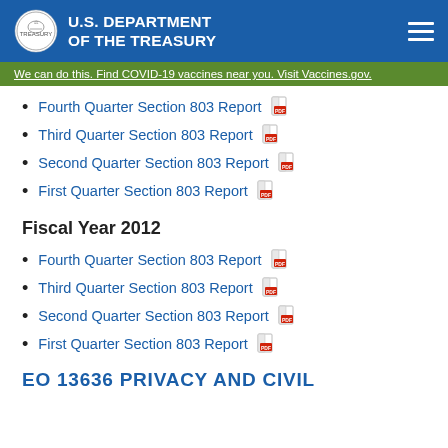U.S. DEPARTMENT OF THE TREASURY
We can do this. Find COVID-19 vaccines near you. Visit Vaccines.gov.
Fourth Quarter Section 803 Report
Third Quarter Section 803 Report
Second Quarter Section 803 Report
First Quarter Section 803 Report
Fiscal Year 2012
Fourth Quarter Section 803 Report
Third Quarter Section 803 Report
Second Quarter Section 803 Report
First Quarter Section 803 Report
EO 13636 PRIVACY AND CIVIL